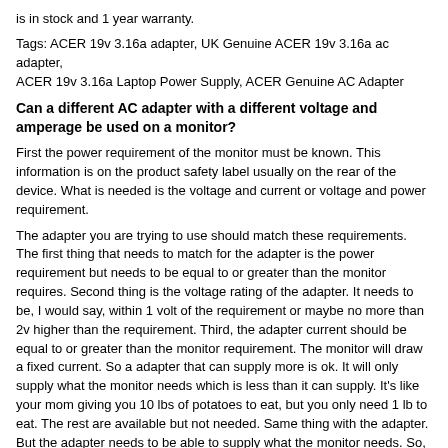is in stock and 1 year warranty.
Tags: ACER 19v 3.16a adapter, UK Genuine ACER 19v 3.16a ac adapter, ACER 19v 3.16a Laptop Power Supply, ACER Genuine AC Adapter
Can a different AC adapter with a different voltage and amperage be used on a monitor?
First the power requirement of the monitor must be known. This information is on the product safety label usually on the rear of the device. What is needed is the voltage and current or voltage and power requirement.
The adapter you are trying to use should match these requirements. The first thing that needs to match for the adapter is the power requirement but needs to be equal to or greater than the monitor requires. Second thing is the voltage rating of the adapter. It needs to be, I would say, within 1 volt of the requirement or maybe no more than 2v higher than the requirement. Third, the adapter current should be equal to or greater than the monitor requirement. The monitor will draw a fixed current. So a adapter that can supply more is ok. It will only supply what the monitor needs which is less than it can supply. It’s like your mom giving you 10 lbs of potatoes to eat, but you only need 1 lb to eat. The rest are available but not needed. Same thing with the adapter. But the adapter needs to be able to supply what the monitor needs. So,
1. The adapter needs to be able to supply the Watts needed by the monitor.
2. The adapter output voltage needs to closely match the monitor requirement. (V-monitor -1v) <V-adapter < (V monitor + 2v)
Example: monitor rating 12vdc at 1.2a = 14.4w